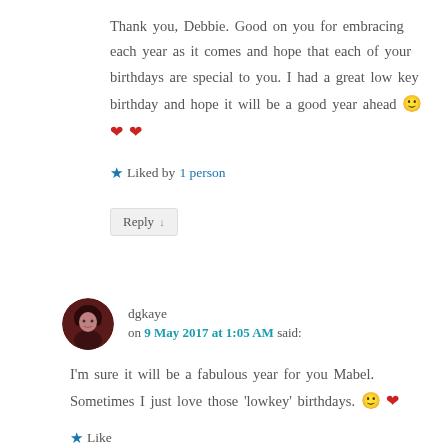Thank you, Debbie. Good on you for embracing each year as it comes and hope that each of your birthdays are special to you. I had a great low key birthday and hope it will be a good year ahead 🙂 ❤ ❤
★ Liked by 1 person
Reply ↓
dgkaye on 9 May 2017 at 1:05 AM said:
I'm sure it will be a fabulous year for you Mabel. Sometimes I just love those 'lowkey' birthdays. 🙂 ❤
★ Like